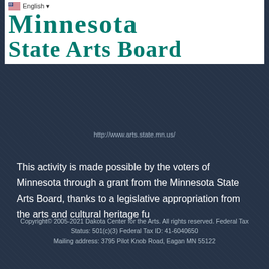[Figure (logo): Minnesota State Arts Board logo with flag/language selector UI element showing English language option with US flag icon]
http://www.arts.state.mn.us/
This activity is made possible by the voters of Minnesota through a grant from the Minnesota State Arts Board, thanks to a legislative appropriation from the arts and cultural heritage fu
Copyright© 2005-2021 Dakota Center for the Arts. All rights reserved. Federal Tax Status: 501(c)(3) Federal Tax ID: 41-6040650 Mailing address: 3795 Pilot Knob Road, Eagan MN 55122